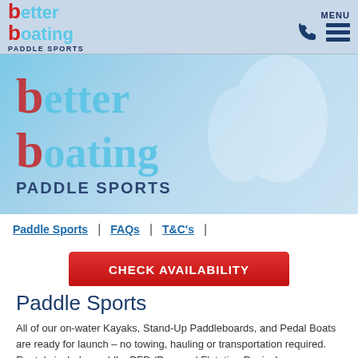Better Boating Paddle Sports – MENU header with phone icon and hamburger menu
[Figure (photo): Hero banner image showing Better Boating Paddle Sports logo overlaid on a background of kayakers and two young adults holding paddles on water]
Paddle Sports | FAQs | T&C's |
CHECK AVAILABILITY
Paddle Sports
All of our on-water Kayaks, Stand-Up Paddleboards, and Pedal Boats are ready for launch – no towing, hauling or transportation required.
Rentals include: paddle, PFD (Personal Flotation Device),